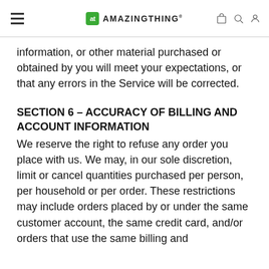AMAZINGTHING
information, or other material purchased or obtained by you will meet your expectations, or that any errors in the Service will be corrected.
SECTION 6 - ACCURACY OF BILLING AND ACCOUNT INFORMATION
We reserve the right to refuse any order you place with us. We may, in our sole discretion, limit or cancel quantities purchased per person, per household or per order. These restrictions may include orders placed by or under the same customer account, the same credit card, and/or orders that use the same billing and